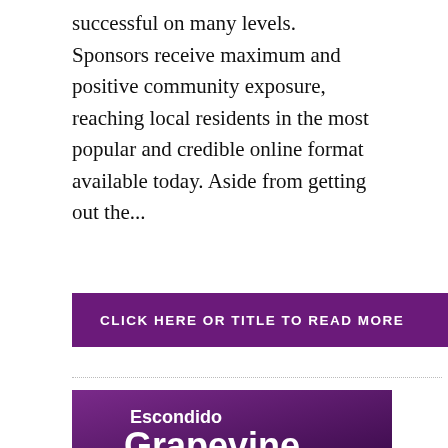successful on many levels. Sponsors receive maximum and positive community exposure, reaching local residents in the most popular and credible online format available today. Aside from getting out the...
[Figure (other): Purple button with text 'CLICK HERE OR TITLE TO READ MORE']
[Figure (logo): Escondido Grapevine newspaper logo banner with tagline 'START SPREADING THE NEWS | ESCONDIDO | SAN MARCOS | VALLEY CENTER | NORTH COUNTY']
ADVERTISE   MARCH 15, 2016
Join these Escondido Grapevine sponsors